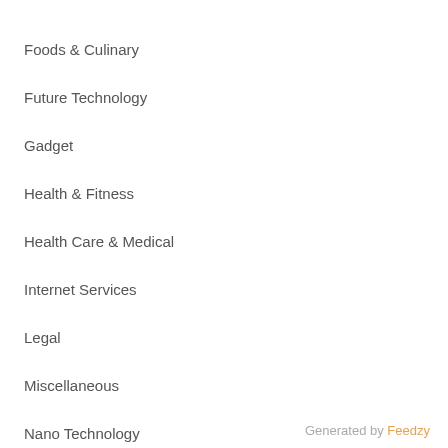Foods & Culinary
Future Technology
Gadget
Health & Fitness
Health Care & Medical
Internet Services
Legal
Miscellaneous
Nano Technology
Networking
Pets & Animals
Relationships
Smart Technology
Generated by Feedzy